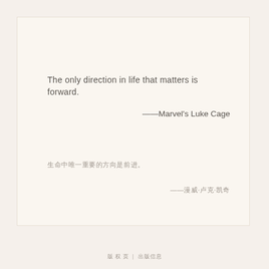The only direction in life that matters is forward.
——Marvel's Luke Cage
生命中唯一重要的方向是前进。
——漫威·卢克·凯奇
版 权 页 | 出版信息